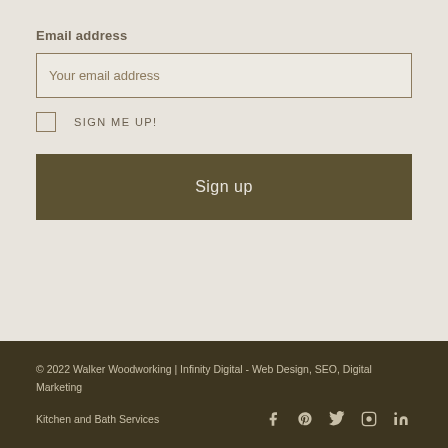Email address
Your email address
SIGN ME UP!
Sign up
© 2022 Walker Woodworking | Infinity Digital - Web Design, SEO, Digital Marketing
Kitchen and Bath Services